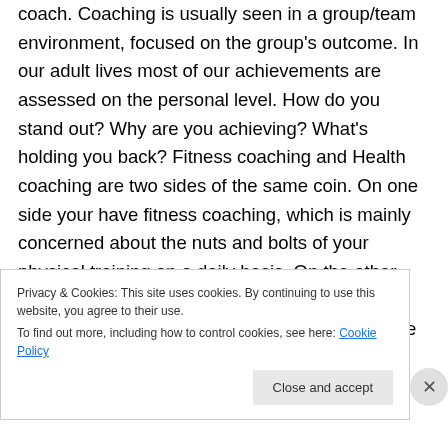coach. Coaching is usually seen in a group/team environment, focused on the group's outcome. In our adult lives most of our achievements are assessed on the personal level. How do you stand out? Why are you achieving? What's holding you back? Fitness coaching and Health coaching are two sides of the same coin. On one side your have fitness coaching, which is mainly concerned about the nuts and bolts of your physical training on a daily basis. On the other side you have health coaching, which is concerned with who you are 24 hours a day. The focus here is your life, not your
Privacy & Cookies: This site uses cookies. By continuing to use this website, you agree to their use.
To find out more, including how to control cookies, see here: Cookie Policy